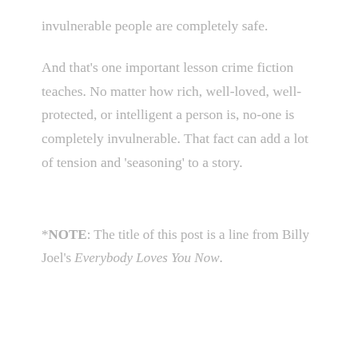invulnerable people are completely safe.
And that's one important lesson crime fiction teaches. No matter how rich, well-loved, well-protected, or intelligent a person is, no-one is completely invulnerable. That fact can add a lot of tension and 'seasoning' to a story.
*NOTE: The title of this post is a line from Billy Joel's Everybody Loves You Now.